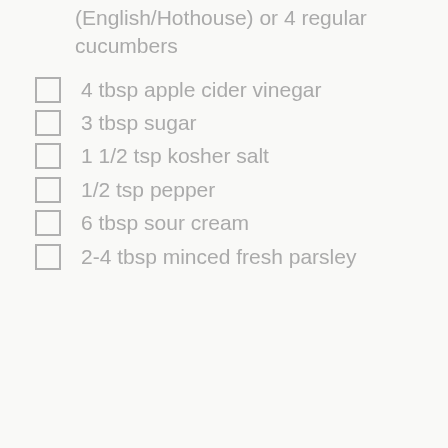(English/Hothouse) or 4 regular cucumbers
4 tbsp apple cider vinegar
3 tbsp sugar
1 1/2 tsp kosher salt
1/2 tsp pepper
6 tbsp sour cream
2-4 tbsp minced fresh parsley